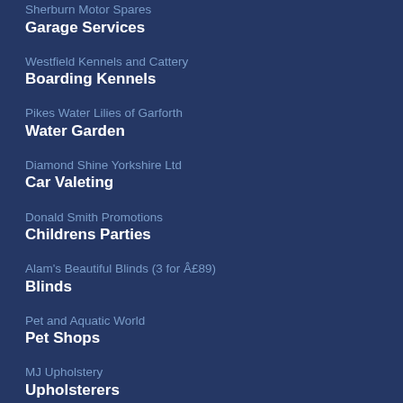Sherburn Motor Spares
Garage Services
Westfield Kennels and Cattery
Boarding Kennels
Pikes Water Lilies of Garforth
Water Garden
Diamond Shine Yorkshire Ltd
Car Valeting
Donald Smith Promotions
Childrens Parties
Alam's Beautiful Blinds (3 for Â£89)
Blinds
Pet and Aquatic World
Pet Shops
MJ Upholstery
Upholsterers